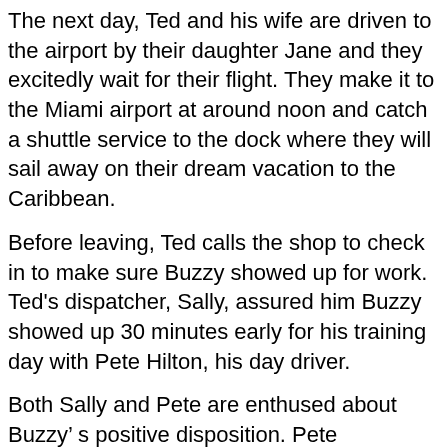The next day, Ted and his wife are driven to the airport by their daughter Jane and they excitedly wait for their flight. They make it to the Miami airport at around noon and catch a shuttle service to the dock where they will sail away on their dream vacation to the Caribbean.
Before leaving, Ted calls the shop to check in to make sure Buzzy showed up for work. Ted's dispatcher, Sally, assured him Buzzy showed up 30 minutes early for his training day with Pete Hilton, his day driver.
Both Sally and Pete are enthused about Buzzy's positive disposition. Pete confidently assures Ted he made a good hiring decision. This gives Ted peace of mind so he can enjoy his Caribbean cruise.
Since Ted will be out of the country he has no access to email or text messages and he thoroughly enjoys his dream vacation with his wife.
As is true of all vacations, all good things come to an end. About 15 minutes before the cruise ship docks in